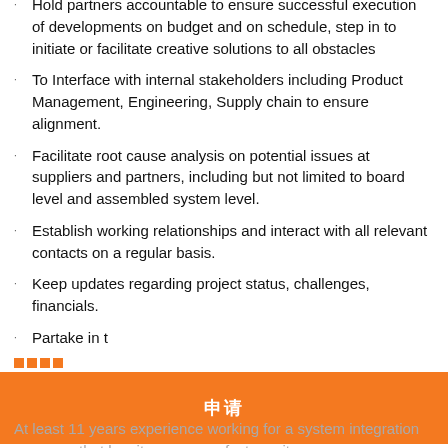Hold partners accountable to ensure successful execution of developments on budget and on schedule, step in to initiate or facilitate creative solutions to all obstacles
To Interface with internal stakeholders including Product Management, Engineering, Supply chain to ensure alignment.
Facilitate root cause analysis on potential issues at suppliers and partners, including but not limited to board level and assembled system level.
Establish working relationships and interact with all relevant contacts on a regular basis.
Keep updates regarding project status, challenges, financials.
Partake in t
[Figure (other): Orange banner with white CJK characters (apply/submit button UI element), preceded by small orange squares]
At least 11 years experience working for a system integration company that has its own manufacture site